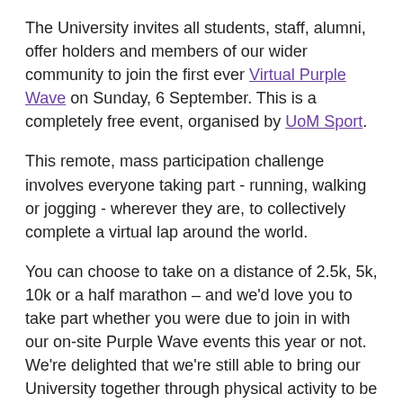The University invites all students, staff, alumni, offer holders and members of our wider community to join the first ever Virtual Purple Wave on Sunday, 6 September. This is a completely free event, organised by UoM Sport.
This remote, mass participation challenge involves everyone taking part - running, walking or jogging - wherever they are, to collectively complete a virtual lap around the world.
You can choose to take on a distance of 2.5k, 5k, 10k or a half marathon – and we'd love you to take part whether you were due to join in with our on-site Purple Wave events this year or not. We're delighted that we're still able to bring our University together through physical activity to be active, be well, be part of our community and raise money for a fantastic cause.